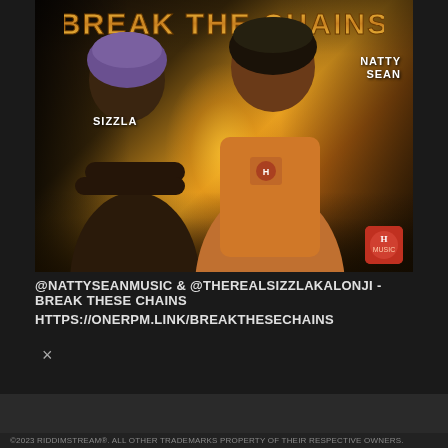[Figure (photo): Music single cover art for 'Break These Chains' featuring two artists: Sizzla (left, wearing purple head wrap, dark clothing, arms crossed) and Natty Sean (right, wearing orange shirt). Dark urban background with golden glow between figures. Title 'BREAK THE CHAINS' at top in gold/bronze lettering. Artist names labeled on the image. Logo badge in bottom right corner.]
@NATTYSEANMUSIC & @THEREALSIZZLAKALONJI -BREAK THESE CHAINS
HTTPS://ONERPM.LINK/BREAKTHESECHAINS
×
1 ITEM ADDED TO CART.
0 ITEMS - $0.00
CHECKOUT
©2023 RIDDIMSTREAM®. ALL OTHER TRADEMARKS PROPERTY OF THEIR RESPECTIVE OWNERS.